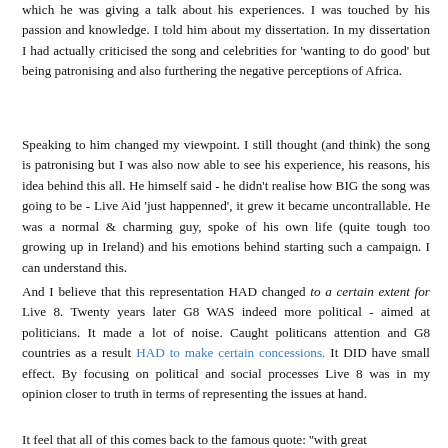which he was giving a talk about his experiences. I was touched by his passion and knowledge. I told him about my dissertation. In my dissertation I had actually criticised the song and celebrities for 'wanting to do good' but being patronising and also furthering the negative perceptions of Africa.
Speaking to him changed my viewpoint. I still thought (and think) the song is patronising but I was also now able to see his experience, his reasons, his idea behind this all. He himself said - he didn't realise how BIG the song was going to be - Live Aid 'just happenned', it grew it became uncontrallable. He was a normal & charming guy, spoke of his own life (quite tough too growing up in Ireland) and his emotions behind starting such a campaign. I can understand this.
And I believe that this representation HAD changed to a certain extent for Live 8. Twenty years later G8 WAS indeed more political - aimed at politicians. It made a lot of noise. Caught politicans attention and G8 countries as a result HAD to make certain concessions. It DID have small effect. By focusing on political and social processes Live 8 was in my opinion closer to truth in terms of representing the issues at hand.
It feel that all of this comes back to the famous quote: ''with great